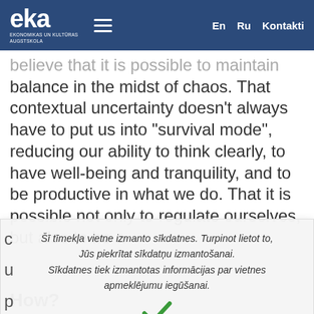eka EKONOMIKAS UN KULTŪRAS AUGSTSKOLA  En  Ru  Kontakti
believe that it is possible to maintain balance in the midst of chaos. That contextual uncertainty doesn't always have to put us into "survival mode", reducing our ability to think clearly, to have well-being and tranquility, and to be productive in what we do. That it is possible not only to regulate ourselves, but also to be a
Šī tīmekļa vietne izmanto sīkdatnes. Turpinot lietot to, Jūs piekrītat sīkdatņu izmantošanai. Sīkdatnes tiek izmantotas informācijas par vietnes apmeklējumu iegūšanai.
How?